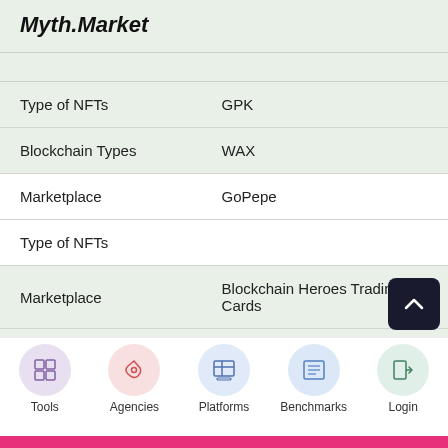| Myth.Market |  |
| Type of NFTs | GPK |
| Blockchain Types | WAX |
| Marketplace | GoPepe |
| Type of NFTs |  |
| Marketplace | Blockchain Heroes Trading Cards |
| Type of NFTs |  |
| Marketplace | KOLSMarket |
| Type of NFTs |  |
Tools | Agencies | Platforms | Benchmarks | Login